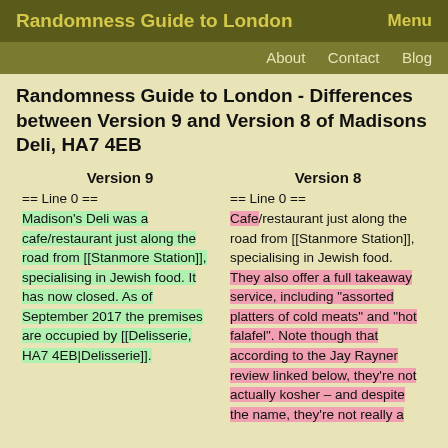Randomness Guide to London   Menu
About   Contact   Blog
Randomness Guide to London - Differences between Version 9 and Version 8 of Madisons Deli, HA7 4EB
| Version 9 | Version 8 |
| --- | --- |
| == Line 0 ==
Madison's Deli was a cafe/restaurant just along the road from [[Stanmore Station]], specialising in Jewish food. It has now closed. As of September 2017 the premises are occupied by [[Delisserie, HA7 4EB|Delisserie]]. | == Line 0 ==
Cafe/restaurant just along the road from [[Stanmore Station]], specialising in Jewish food. They also offer a full takeaway service, including "assorted platters of cold meats" and "hot falafel". Note though that according to the Jay Rayner review linked below, they're not actually kosher &#8211; and despite the name, they're not really a |